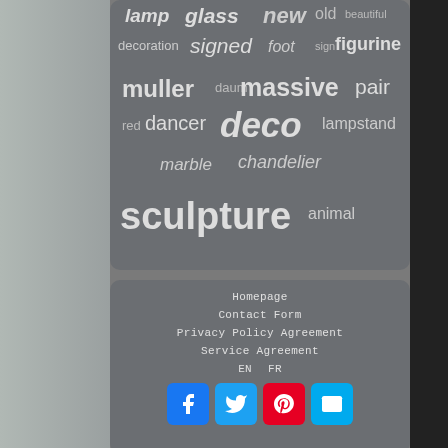[Figure (infographic): Word cloud on dark grey rounded panel with terms: lamp, glass, new, old, beautiful, decoration, signed, foot, sign, figurine, muller, daum, massive, pair, red, dancer, deco, lampstand, marble, chandelier, sculpture, animal]
Homepage
Contact Form
Privacy Policy Agreement
Service Agreement
EN   FR
[Figure (infographic): Social media icon buttons: Facebook (blue), Twitter (blue), Pinterest (red), Email (blue)]